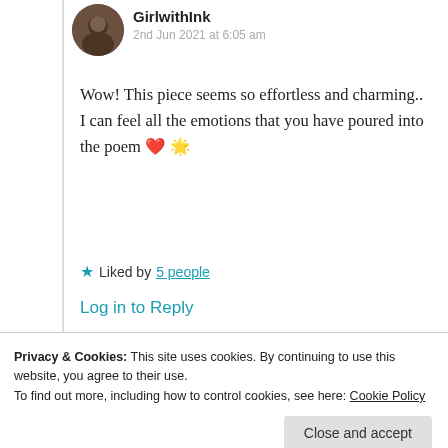GirlwithInk
2nd Jun 2021 at 6:05 am
Wow! This piece seems so effortless and charming.. I can feel all the emotions that you have poured into the poem ❤️ 🌟
Liked by 5 people
Log in to Reply
Privacy & Cookies: This site uses cookies. By continuing to use this website, you agree to their use.
To find out more, including how to control cookies, see here: Cookie Policy
Close and accept
That's an amazing review dear, todas